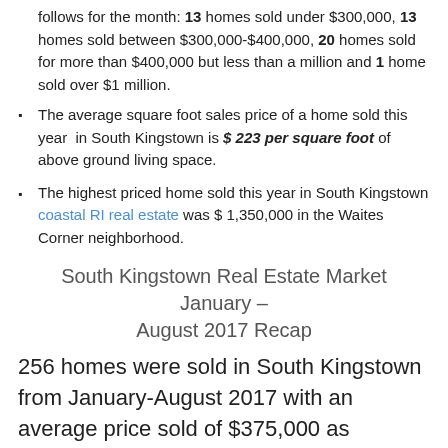follows for the month: 13 homes sold under $300,000, 13 homes sold between $300,000-$400,000, 20 homes sold for more than $400,000 but less than a million and 1 home sold over $1 million.
The average square foot sales price of a home sold this year in South Kingstown is $ 223 per square foot of above ground living space.
The highest priced home sold this year in South Kingstown coastal RI real estate was $ 1,350,000 in the Waites Corner neighborhood.
South Kingstown Real Estate Market January – August 2017 Recap
256 homes were sold in South Kingstown from January-August 2017 with an average price sold of $375,000 as compared to 274 homes sold January-August 2016 with an average price of $351,000.  A decrease in the number of home sales by 7% but an average sales price increase by 7%.